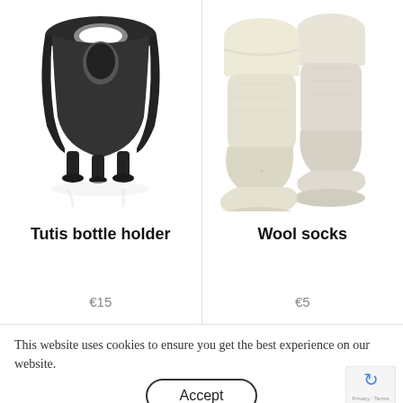[Figure (photo): A dark grey/black plastic bottle holder with sculptural curved form and open center, with reflection below]
Tutis bottle holder
€15
[Figure (photo): Two cream/off-white wool socks for baby/toddler, soft and fluffy looking]
Wool socks
€5
This website uses cookies to ensure you get the best experience on our website.
Accept